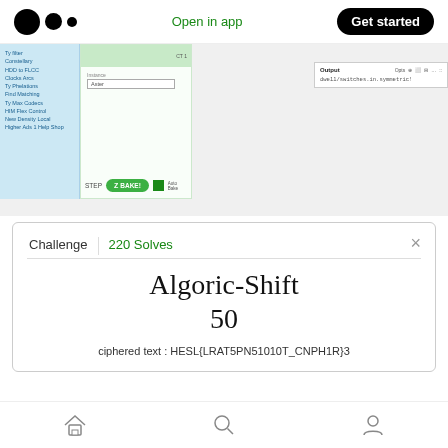Open in app | Get started
[Figure (screenshot): Screenshot of a baking/CTF tool interface showing a sidebar menu with blue items, a form with input field, a BAKE button, and an Output panel showing 'dwell/switches.in.symmetric!']
Challenge | 220 Solves
Algoric-Shift
50
ciphered text : HESL{LRAT5PN51010T_CNPH1R}3
Home | Search | Profile